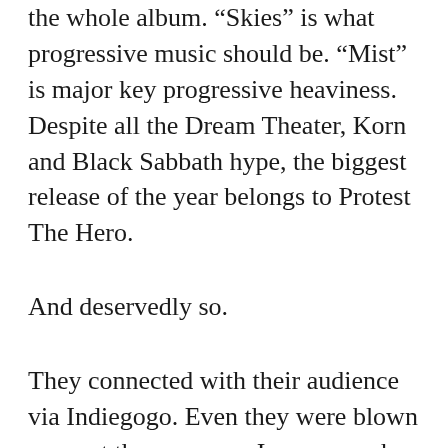the whole album. “Skies” is what progressive music should be. “Mist” is major key progressive heaviness. Despite all the Dream Theater, Korn and Black Sabbath hype, the biggest release of the year belongs to Protest The Hero.
And deservedly so.
They connected with their audience via Indiegogo. Even they were blown away at the response. I suppose when you have a record label feeding you bogus stats and terrible royalty payments for a long time, you fail to realise the audience